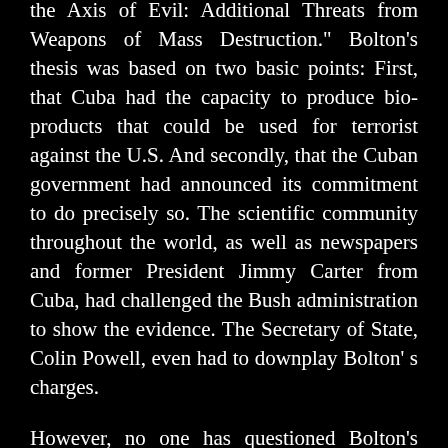the Axis of Evil: Additional Threats from Weapons of Mass Destruction." Bolton's thesis was based on two basic points: First, that Cuba had the capacity to produce bio-products that could be used for terrorist against the U.S. And secondly, that the Cuban government had announced its commitment to do precisely so. The scientific community throughout the world, as well as newspapers and former President Jimmy Carter from Cuba, had challenged the Bush administration to show the evidence. The Secretary of State, Colin Powell, even had to downplay Bolton' s charges.
However, no one has questioned Bolton's accusation that the Cuban government actually wants to bring harm to the United States. The Under Secretary for Arms Control and International Security said that last year, Fidel Castro visited Iran, Syria